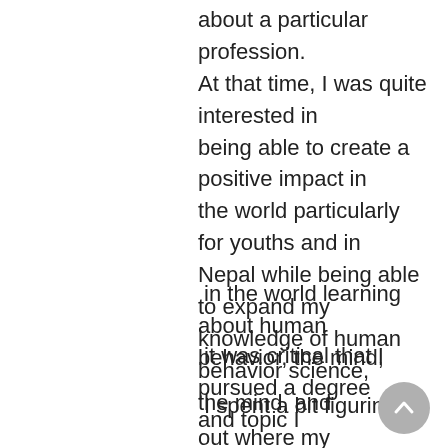about a particular profession. At that time, I was quite interested in being able to create a positive impact in the world particularly for youths and in Nepal while being able to expand my knowledge of human behavior science, the mind, and
in the world learning about human behavior, the mind,
it was critical that I pursued a degree and topic I
I spent a bit figuring out where my natural interest laid. I believe this was an